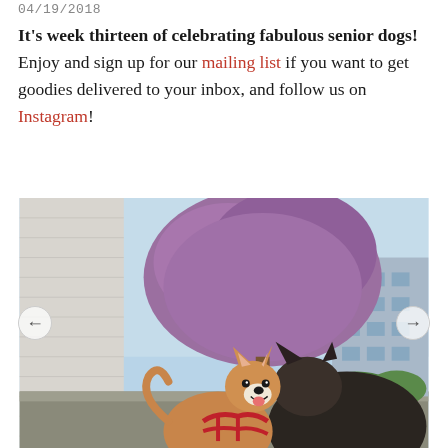04/19/2018
It's week thirteen of celebrating fabulous senior dogs! Enjoy and sign up for our mailing list if you want to get goodies delivered to your inbox, and follow us on Instagram!
[Figure (photo): A smiling Shiba Inu dog in a red harness standing outdoors on a sidewalk, looking back at the camera. In the background there is a blooming purple tree, a white building on the left, and an apartment building on the right under a blue sky.]